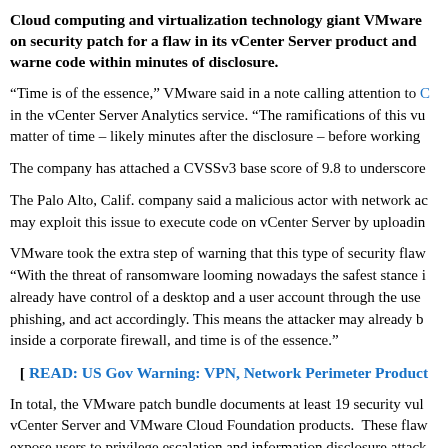Cloud computing and virtualization technology giant VMware on security patch for a flaw in its vCenter Server product and warned code within minutes of disclosure.
“Time is of the essence,” VMware said in a note calling attention to [link] in the vCenter Server Analytics service. “The ramifications of this vu matter of time – likely minutes after the disclosure – before working
The company has attached a CVSSv3 base score of 9.8 to underscore
The Palo Alto, Calif. company said a malicious actor with network ac may exploit this issue to execute code on vCenter Server by uploadin
VMware took the extra step of warning that this type of security flaw “With the threat of ransomware looming nowadays the safest stance i already have control of a desktop and a user account through the use phishing, and act accordingly. This means the attacker may already b inside a corporate firewall, and time is of the essence.”
[ READ: US Gov Warning: VPN, Network Perimeter Product
In total, the VMware patch bundle documents at least 19 security vul vCenter Server and VMware Cloud Foundation products.  These flaw expose users to privilege escalation and information disclosure attack